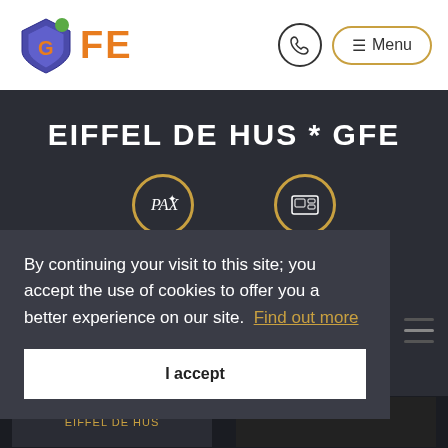[Figure (logo): GFE logo — shield shape with star and letter G in orange on dark blue/purple background]
☰ Menu
EIFFEL DE HUS * GFE
[Figure (illustration): PAX: BREEDING icon — circular badge with PAX text and star design in gold border]
[Figure (illustration): MEDIA: icon — circular badge with media/gallery icon in gold border]
By continuing your visit to this site; you accept the use of cookies to offer you a better experience on our site. Find out more
I accept
[Figure (screenshot): Bottom strip showing partial thumbnail images with EIFFEL DE HUS text visible]